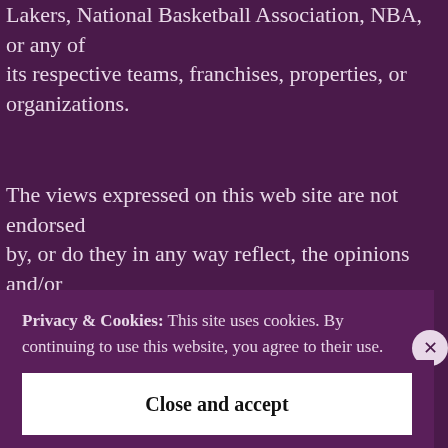Lakers, National Basketball Association, NBA, or any of its respective teams, franchises, properties, or organizations.
The views expressed on this web site are not endorsed by, or do they in any way reflect, the opinions and/or positions of the aforementioned entities, and are the property of Raining3s.com or the original creator.
All original content on this site is the property of Raining3s.com...
Privacy & Cookies: This site uses cookies. By continuing to use this website, you agree to their use.

To find out more, including how to control cookies, see here: Cookie Policy
Close and accept